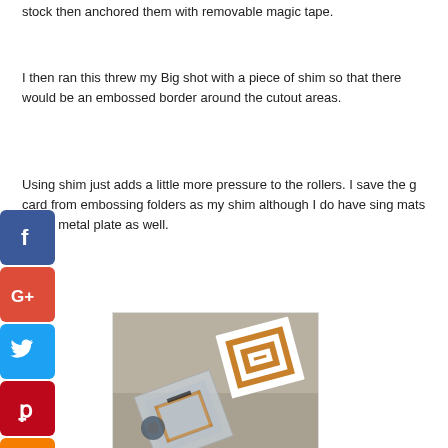stock then anchored them with removable magic tape.
I then ran this threw my Big shot with a piece of shim so that there would be an embossed border around the cutout areas.
Using shim just adds a little more pressure to the rollers. I save the g card from embossing folders as my shim although I do have sing mats and a metal plate as well.
[Figure (photo): Photo of craft project pieces on a table showing embossed/die-cut card stock pieces with decorative borders, some showing a layered square spiral pattern in copper/brown tones on a light surface with tape visible.]